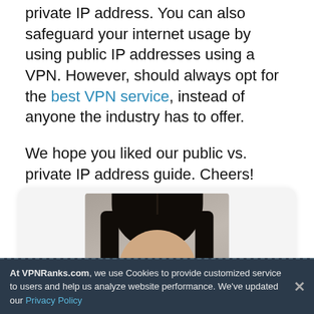private IP address. You can also safeguard your internet usage by using public IP addresses using a VPN. However, should always opt for the best VPN service, instead of anyone the industry has to offer.
We hope you liked our public vs. private IP address guide. Cheers!
[Figure (photo): Author profile photo showing a person with black hair, top half of face visible, against a grey background, displayed inside a card with rounded corners]
At VPNRanks.com, we use Cookies to provide customized service to users and help us analyze website performance. We've updated our Privacy Policy